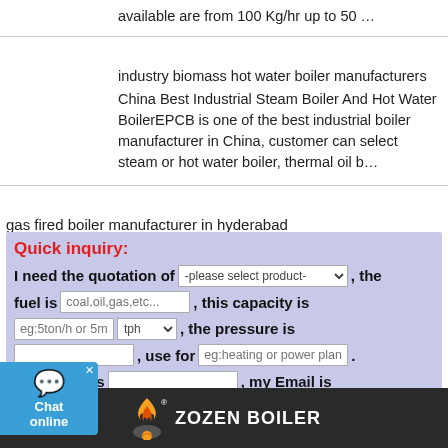available are from 100 Kg/hr up to 50 …
industry biomass hot water boiler manufacturers
China Best Industrial Steam Boiler And Hot Water BoilerEPCB is one of the best industrial boiler manufacturer in China, customer can select steam or hot water boiler, thermal oil b…
gas fired boiler manufacturer in hyderabad
Quick inquiry: I need the quotation of [dropdown: -please select product-], the fuel is [input: coal,oil,gas,etc...], this capacity is [input: eg:5ton/h or 5mw] [dropdown: tph], the pressure is [input], use for [input: eg:heating or power plant]. [My n]ame is [input], my Email is [input], my WhatsApp is [input], Please Send the detail information for me! [submit]
[Figure (logo): Zozen Boiler logo with flame icon on dark footer bar]